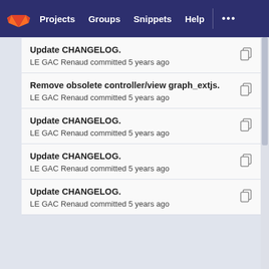Projects  Groups  Snippets  Help
Update CHANGELOG.
LE GAC Renaud committed 5 years ago
Remove obsolete controller/view graph_extjs.
LE GAC Renaud committed 5 years ago
Update CHANGELOG.
LE GAC Renaud committed 5 years ago
Update CHANGELOG.
LE GAC Renaud committed 5 years ago
Update CHANGELOG.
LE GAC Renaud committed 5 years ago